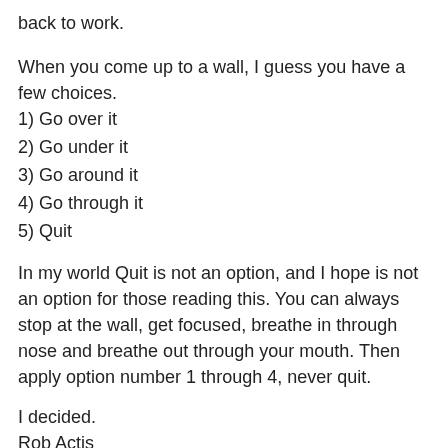back to work.
When you come up to a wall, I guess you have a few choices.
1) Go over it
2) Go under it
3) Go around it
4) Go through it
5) Quit
In my world Quit is not an option, and I hope is not an option for those reading this. You can always stop at the wall, get focused, breathe in through nose and breathe out through your mouth. Then apply option number 1 through 4, never quit.
I decided.
Rob Actis
Penny Abshire · November 17, 2009 at 3:40pm
That's just wonderful, Rob! Such wonderful, wonderful advice. She's lucky to have you for a